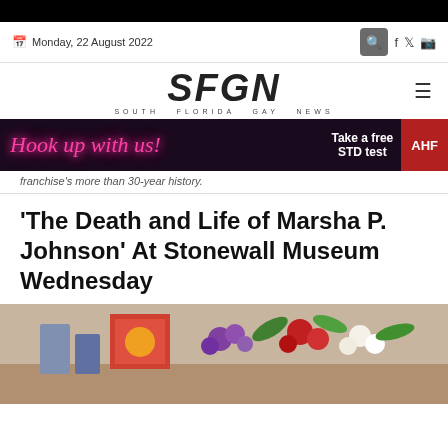Monday, 22 August 2022
[Figure (logo): SFGN - South Florida Gay News logo]
[Figure (infographic): Hook up with us! Take a free STD test - AHF advertisement banner]
franchise's more than 30-year history.
'The Death and Life of Marsha P. Johnson' At Stonewall Museum Wednesday
[Figure (photo): Photo showing floral arrangement with purple, red and white flowers and colorful artwork in background]